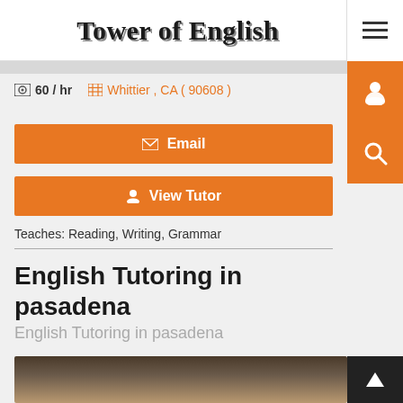Tower of English
60 / hr   Whittier , CA ( 90608 )
Email
View Tutor
Teaches: Reading, Writing, Grammar
English Tutoring in pasadena
English Tutoring in pasadena
[Figure (photo): Partial photo of a person, cropped view showing top of head with blond/light brown hair against a dark background]